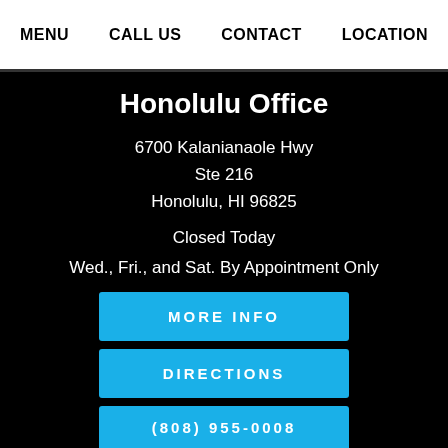MENU   CALL US   CONTACT   LOCATION
Honolulu Office
6700 Kalanianaole Hwy
Ste 216
Honolulu, HI 96825
Closed Today
Wed., Fri., and Sat. By Appointment Only
MORE INFO
DIRECTIONS
(808) 955-0008